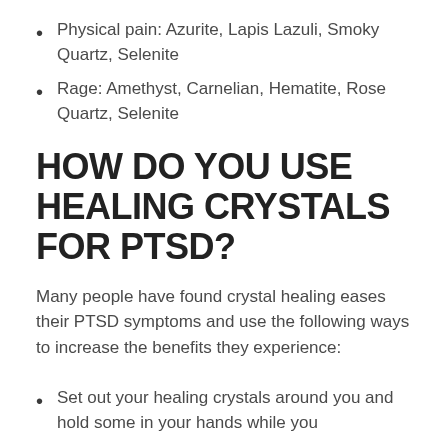Physical pain: Azurite, Lapis Lazuli, Smoky Quartz, Selenite
Rage: Amethyst, Carnelian, Hematite, Rose Quartz, Selenite
HOW DO YOU USE HEALING CRYSTALS FOR PTSD?
Many people have found crystal healing eases their PTSD symptoms and use the following ways to increase the benefits they experience:
Set out your healing crystals around you and hold some in your hands while you